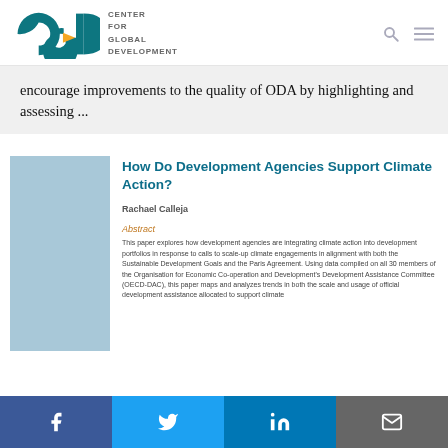CENTER FOR GLOBAL DEVELOPMENT
encourage improvements to the quality of ODA by highlighting and assessing ...
How Do Development Agencies Support Climate Action?
Rachael Calleja
Abstract
This paper explores how development agencies are integrating climate action into development portfolios in response to calls to scale-up climate engagements in alignment with both the Sustainable Development Goals and the Paris Agreement. Using data compiled on all 30 members of the Organisation for Economic Co-operation and Development's Development Assistance Committee (OECD-DAC), this paper maps and analyzes trends in both the scale and usage of official development assistance allocated to support climate
Facebook Twitter LinkedIn Email